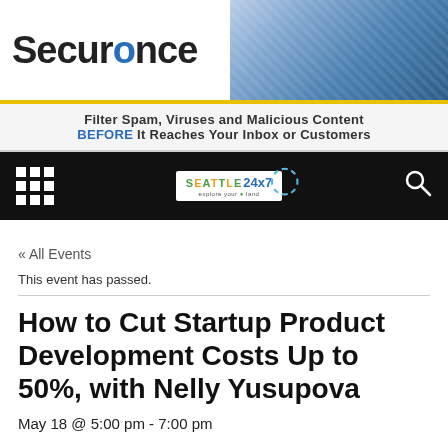[Figure (logo): Securonce logo with stylized blue 'o' and abstract blue photo background on right]
Filter Spam, Viruses and Malicious Content BEFORE It Reaches Your Inbox or Customers
[Figure (logo): Seattle 24x7 logo in black navigation bar with grid menu icon and search icon]
« All Events
This event has passed.
How to Cut Startup Product Development Costs Up to 50%, with Nelly Yusupova
May 18 @ 5:00 pm - 7:00 pm